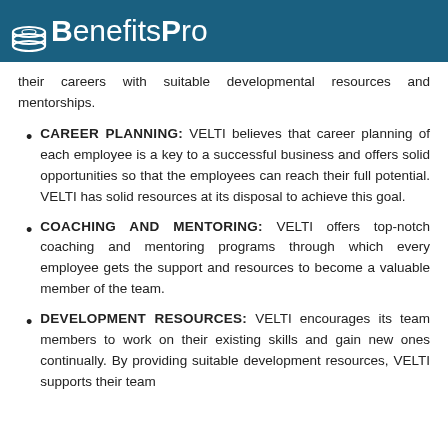BenefitsPro
their careers with suitable developmental resources and mentorships.
CAREER PLANNING: VELTI believes that career planning of each employee is a key to a successful business and offers solid opportunities so that the employees can reach their full potential. VELTI has solid resources at its disposal to achieve this goal.
COACHING AND MENTORING: VELTI offers top-notch coaching and mentoring programs through which every employee gets the support and resources to become a valuable member of the team.
DEVELOPMENT RESOURCES: VELTI encourages its team members to work on their existing skills and gain new ones continually. By providing suitable development resources, VELTI supports their team